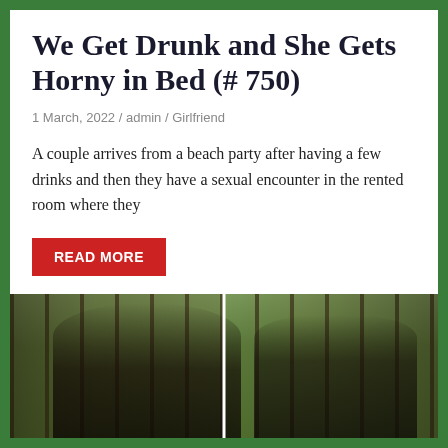We Get Drunk and She Gets Horny in Bed (# 750)
1 March, 2022 / admin / Girlfriend
A couple arrives from a beach party after having a few drinks and then they have a sexual encounter in the rented room where they
READ MORE
[Figure (photo): Two-panel outdoor photo showing two people near trees in a wooded area, faces obscured]